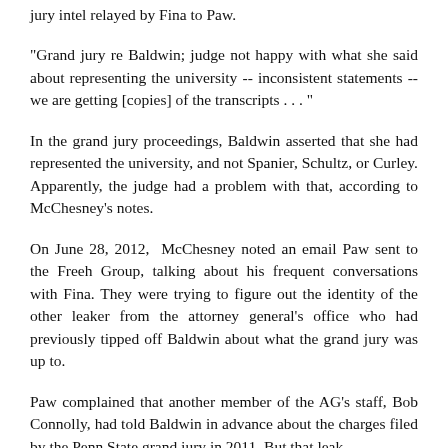jury intel relayed by Fina to Paw.
"Grand jury re Baldwin; judge not happy with what she said about representing the university -- inconsistent statements -- we are getting [copies] of the transcripts . . . "
In the grand jury proceedings, Baldwin asserted that she had represented the university, and not Spanier, Schultz, or Curley. Apparently, the judge had a problem with that, according to McChesney's notes.
On June 28, 2012,  McChesney noted an email Paw sent to the Freeh Group, talking about his frequent conversations with Fina. They were trying to figure out the identity of the other leaker from the attorney general's office who had previously tipped off Baldwin about what the grand jury was up to.
Paw complained that another member of the AG's staff, Bob Connolly, had told Baldwin in advance about the charges filed by the Penn State grand jury in 2011. But that leaker...